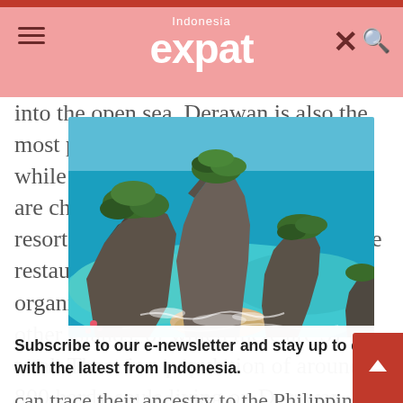Indonesia expat
into the open sea. Derawan is also the most practical place to base yourself while in the area; the accommodations are cheap (no overpriced luxury dive resorts here); there are plenty of simple restaurants to eat at, and you can also organise dives and boat trips to the other islands, of which there are 31 in total. There is a population of around 800 hardy souls living on Derawan, many of who
[Figure (photo): Aerial or elevated view of dramatic rocky island formations rising from turquoise-blue sea water, with a small sandy cove/beach between the rocks. Lush green vegetation on top of the rocks. Vibrant blue and teal ocean water surrounding the islands.]
Subscribe to our e-newsletter and stay up to date with the latest from Indonesia.
can trace their ancestry to the Philippines where they once lived a nomadic lifestyle.
So is it paradise? Well yes, and no. From a